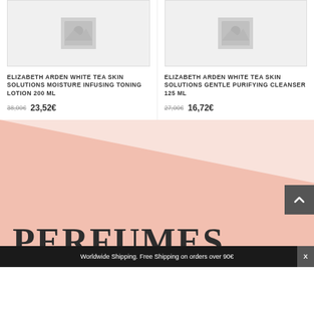[Figure (photo): Placeholder product image for Elizabeth Arden White Tea Skin Solutions Moisture Infusing Toning Lotion 200 ml]
ELIZABETH ARDEN WHITE TEA SKIN SOLUTIONS MOISTURE INFUSING TONING LOTION 200 ML
38,00€ 23,52€
[Figure (photo): Placeholder product image for Elizabeth Arden White Tea Skin Solutions Gentle Purifying Cleanser 125 ml]
ELIZABETH ARDEN WHITE TEA SKIN SOLUTIONS GENTLE PURIFYING CLEANSER 125 ML
27,00€ 16,72€
[Figure (illustration): Pink diagonal background section with large PERFUMES. text]
PERFUMES.
Worldwide Shipping. Free Shipping on orders over 90€